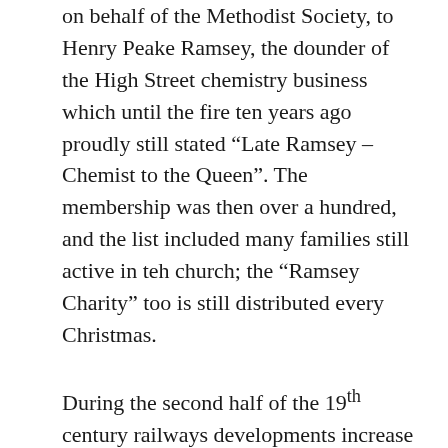on behalf of the Methodist Society, to Henry Peake Ramsey, the dounder of the High Street chemistry business which until the fire ten years ago proudly still stated “Late Ramsey – Chemist to the Queen”. The membership was then over a hundred, and the list included many families still active in teh church; the “Ramsey Charity” too is still distributed every Christmas.
During the second half of the 19th century railways developments increase Ashford’s poplulation, and its Methodists needed a larger church. Plans were made for one in Tufton Street connecting with the old building, but Headquarters advised a more prominent position. The Bank Street site was leased for 15